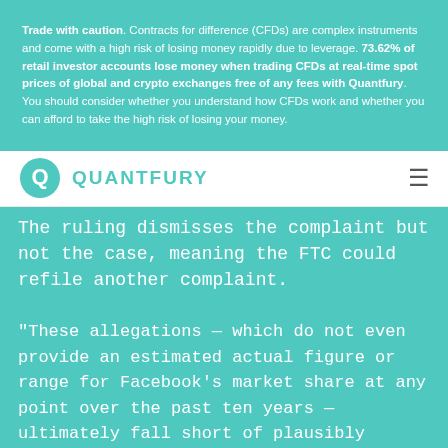Trade with caution. Contracts for difference (CFDs) are complex instruments and come with a high risk of losing money rapidly due to leverage. 73.62% of retail investor accounts lose money when trading CFDs at real-time spot prices of global and crypto exchanges free of any fees with Quantfury. You should consider whether you understand how CFDs work and whether you can afford to take the high risk of losing your money.
[Figure (logo): Quantfury logo: teal circular Q icon followed by QUANTFURY text in teal]
The ruling dismisses the complaint but not the case, meaning the FTC could refile another complaint.
“These allegations — which do not even provide an estimated actual figure or range for Facebook’s market share at any point over the past ten years — ultimately fall short of plausibly establishing that Facebook holds market power,” the judge